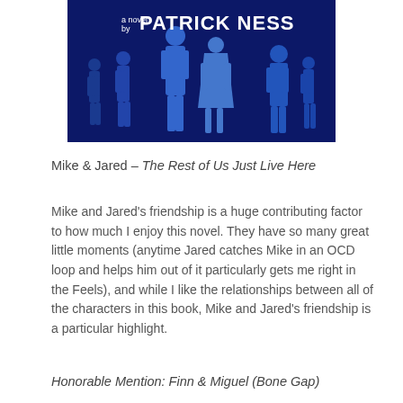[Figure (illustration): Book cover for 'The Rest of Us Just Live Here' by Patrick Ness. Dark navy blue background with silhouettes of various characters. Text reads 'a novel by PATRICK NESS' in white.]
Mike & Jared – The Rest of Us Just Live Here
Mike and Jared's friendship is a huge contributing factor to how much I enjoy this novel. They have so many great little moments (anytime Jared catches Mike in an OCD loop and helps him out of it particularly gets me right in the Feels), and while I like the relationships between all of the characters in this book, Mike and Jared's friendship is a particular highlight.
Honorable Mention: Finn & Miguel (Bone Gap)